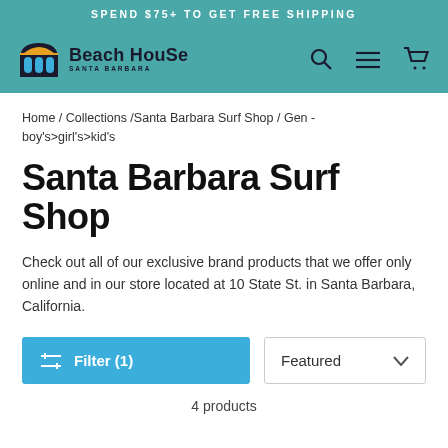SPEND $75+ TO GET FREE SHIPPING
[Figure (logo): Beach House Santa Barbara logo with stylized house/arch icon]
Home / Collections /Santa Barbara Surf Shop / Gen - boy's>girl's>kid's
Santa Barbara Surf Shop
Check out all of our exclusive brand products that we offer only online and in our store located at 10 State St. in Santa Barbara, California.
Filter (1)
Featured
4 products